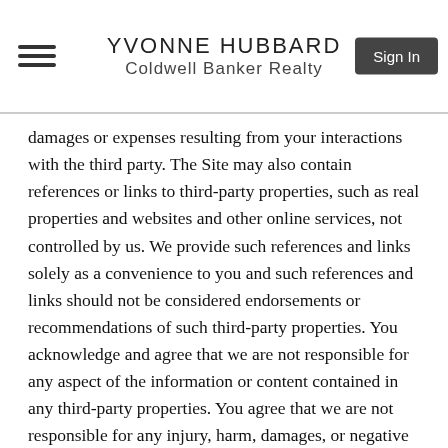YVONNE HUBBARD
Coldwell Banker Realty
damages or expenses resulting from your interactions with the third party. The Site may also contain references or links to third-party properties, such as real properties and websites and other online services, not controlled by us. We provide such references and links solely as a convenience to you and such references and links should not be considered endorsements or recommendations of such third-party properties. You acknowledge and agree that we are not responsible for any aspect of the information or content contained in any third-party properties. You agree that we are not responsible for any injury, harm, damages, or negative experience you may encounter by accessing, visiting, or using such third-party properties. If you access, visit, or use any third-party properties referred to on the Site, you do so at your own risk. For the avoidance of doubt, this Agreement applies solely to the Site and does not apply to any third party website that may be accessed via third party links on the Site. We encourage you to